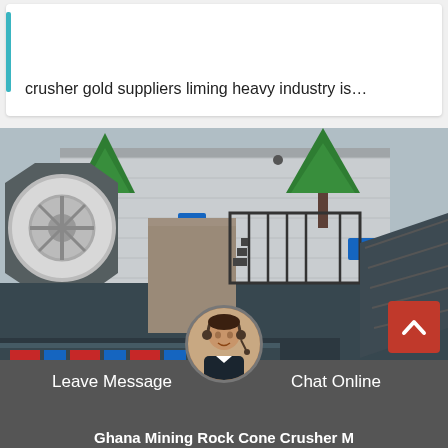crusher gold suppliers liming heavy industry is…
[Figure (photo): Large mobile rock cone crusher machine with conveyor belt, dark grey body, white circular flywheel on the left, parked outdoors near trees and a warehouse building]
Leave Message
Chat Online
Ghana Mining Rock Cone Crusher M